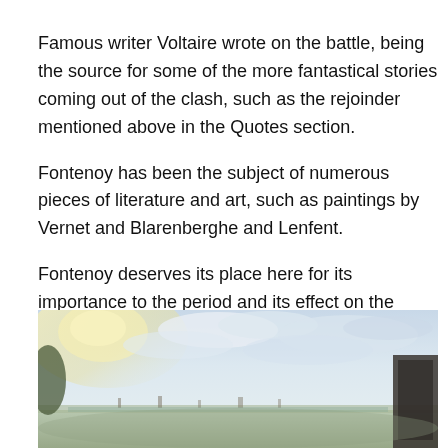Famous writer Voltaire wrote on the battle, being the source for some of the more fantastical stories coming out of the clash, such as the rejoinder mentioned above in the Quotes section.
Fontenoy has been the subject of numerous pieces of literature and art, such as paintings by Vernet and Blarenberghe and Lenfent.
Fontenoy deserves its place here for its importance to the period and its effect on the wider world.
[Figure (photo): A wide landscape painting showing a battlefield scene at Fontenoy, with a pale sky filled with clouds and light, and distant terrain visible on the horizon with a dark structure on the right edge.]